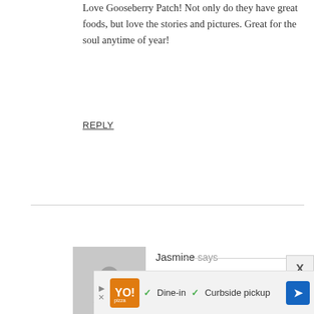Love Gooseberry Patch! Not only do they have great foods, but love the stories and pictures. Great for the soul anytime of year!
REPLY
Jasmine says
December 13, 2015 at 12:35 am
[Figure (illustration): Generic user avatar placeholder icon - grey silhouette of a person on grey background]
ry cook book but I ell.
[Figure (screenshot): Advertisement bar at bottom showing restaurant logo, dine-in and curbside pickup options with navigation arrow icon, with ad controls (play/close buttons)]